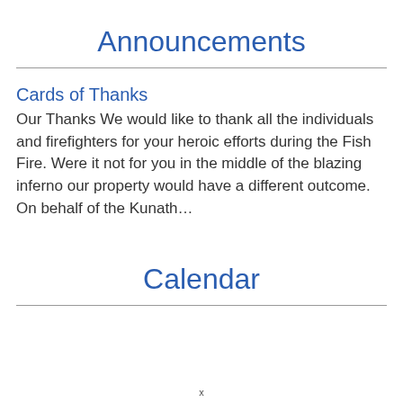Announcements
Cards of Thanks
Our Thanks We would like to thank all the individuals and firefighters for your heroic efforts during the Fish Fire. Were it not for you in the middle of the blazing inferno our property would have a different outcome. On behalf of the Kunath…
Calendar
x